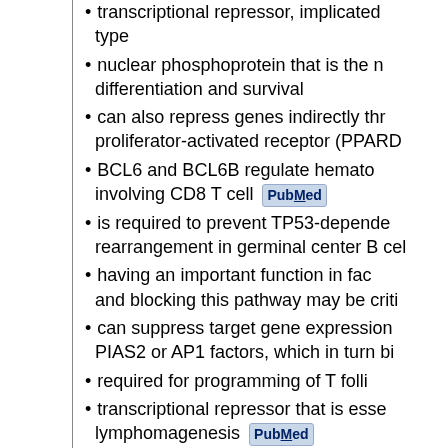transcriptional repressor, implicated type
nuclear phosphoprotein that is the m differentiation and survival
can also repress genes indirectly thr proliferator-activated receptor (PPARD
BCL6 and BCL6B regulate hemato involving CD8 T cell [PubMed]
is required to prevent TP53-depende rearrangement in germinal center B cel
having an important function in fac and blocking this pathway may be criti
can suppress target gene expression PIAS2 or AP1 factors, which in turn bi
required for programming of T folli
transcriptional repressor that is esse lymphomagenesis [PubMed]
controls the transcription of a variet activation [PubMed]
BCL6 and PIM1 are both protoonco
BCL6 protects senescent cells from